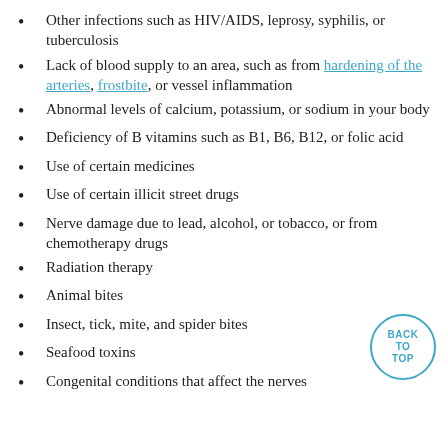Other infections such as HIV/AIDS, leprosy, syphilis, or tuberculosis
Lack of blood supply to an area, such as from hardening of the arteries, frostbite, or vessel inflammation
Abnormal levels of calcium, potassium, or sodium in your body
Deficiency of B vitamins such as B1, B6, B12, or folic acid
Use of certain medicines
Use of certain illicit street drugs
Nerve damage due to lead, alcohol, or tobacco, or from chemotherapy drugs
Radiation therapy
Animal bites
Insect, tick, mite, and spider bites
Seafood toxins
Congenital conditions that affect the nerves